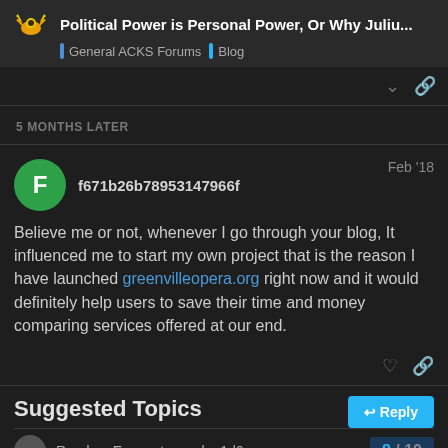Political Power is Personal Power, Or Why Juliu... | General ACKS Forums | Blog
5 MONTHS LATER
f671b26b78953147966f  Feb '18
Believe me or not, whenever I go through your blog, It influenced me to start my own project that is the reason I have launched greenvilleopera.org right now and it would definitely help users to save their time and money comparing services offered at our end.
Suggested Topics
8 / 10